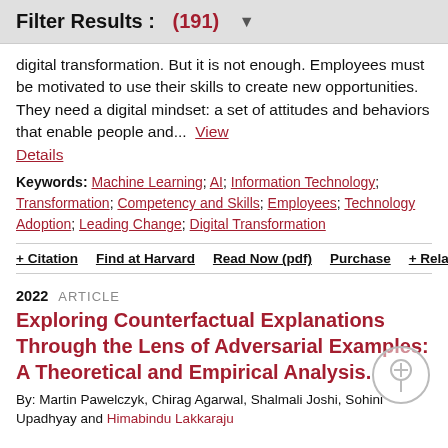Filter Results : (191) ▼
digital transformation. But it is not enough. Employees must be motivated to use their skills to create new opportunities. They need a digital mindset: a set of attitudes and behaviors that enable people and...  View Details
Keywords: Machine Learning; AI; Information Technology; Transformation; Competency and Skills; Employees; Technology Adoption; Leading Change; Digital Transformation
+ Citation   Find at Harvard   Read Now (pdf)   Purchase   + Relate
2022  ARTICLE
Exploring Counterfactual Explanations Through the Lens of Adversarial Examples: A Theoretical and Empirical Analysis.
By: Martin Pawelczyk, Chirag Agarwal, Shalmali Joshi, Sohini Upadhyay and Himabindu Lakkaraju